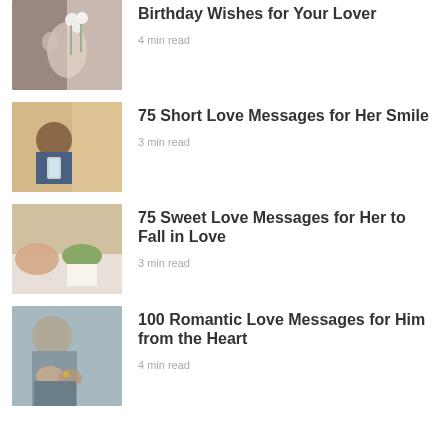[Figure (photo): Person holding white flowers, romantic scene]
Birthday Wishes for Your Lover
4 min read
[Figure (photo): Young woman sitting cross-legged looking at phone by window]
75 Short Love Messages for Her Smile
3 min read
[Figure (photo): Person's hand on bed with food and note]
75 Sweet Love Messages for Her to Fall in Love
3 min read
[Figure (photo): Couple holding hands sitting together]
100 Romantic Love Messages for Him from the Heart
4 min read